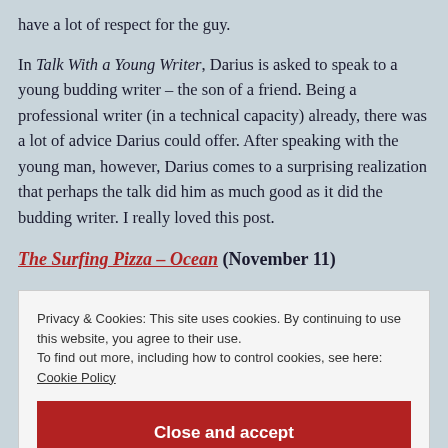have a lot of respect for the guy.
In Talk With a Young Writer, Darius is asked to speak to a young budding writer – the son of a friend. Being a professional writer (in a technical capacity) already, there was a lot of advice Darius could offer. After speaking with the young man, however, Darius comes to a surprising realization that perhaps the talk did him as much good as it did the budding writer. I really loved this post.
The Surfing Pizza – Ocean (November 11)
Privacy & Cookies: This site uses cookies. By continuing to use this website, you agree to their use.
To find out more, including how to control cookies, see here: Cookie Policy
Close and accept
seems is The Surfing Pizza's favorite holiday by a mile), his